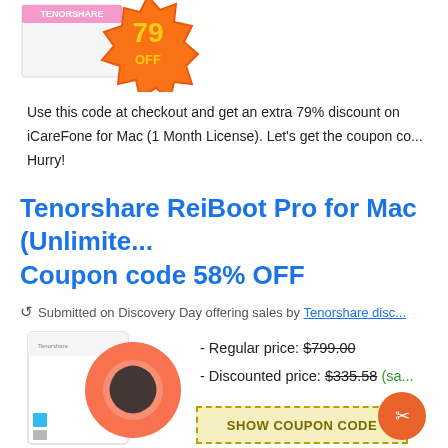[Figure (illustration): Product box partially visible at top-left, with an orange starburst badge showing '79% OFF' in yellow text on orange background]
Use this code at checkout and get an extra 79% discount on iCareFone for Mac (1 Month License). Let's get the coupon co... Hurry!
Tenorshare ReiBoot Pro for Mac (Unlimited) Coupon code 58% OFF
Submitted on Discovery Day offering sales by Tenorshare disc...
[Figure (photo): Tenorshare ReiBoot Pro for Mac product box image showing white box with orange circular logo design]
- Regular price: $799.00
- Discounted price: $335.58 (sa...)
SHOW COUPON CODE